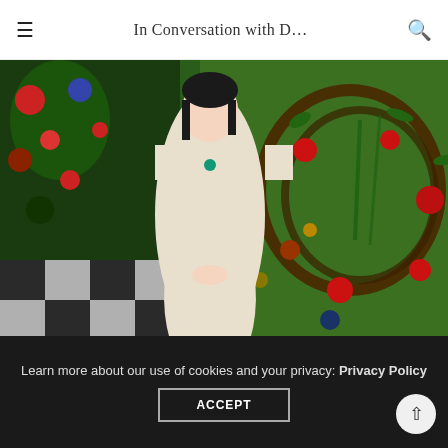In Conversation with D…
[Figure (photo): A woman in a cream dress wearing a teal necklace, standing in front of a floral wall decoration with red roses and twisted branches on a green backdrop, with a checkered floor visible]
Step Inside the RichandRare Jewellery Wonderland this Summer
Learn more about our use of cookies and your privacy: Privacy Policy
ACCEPT